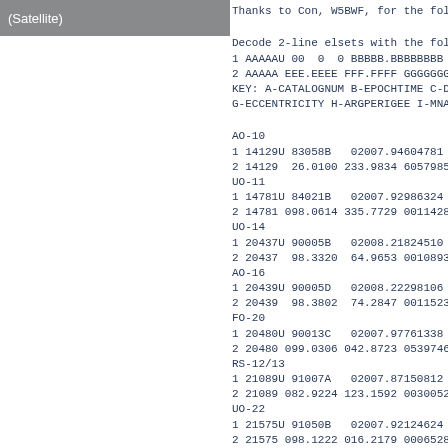(Satellite)
Thanks to Con, W5BWF, for the foll
Decode 2-line elsets with the foll
1 AAAAAU 00  0  0 BBBBB.BBBBBBBB
2 AAAAA EEE.EEEE FFF.FFFF GGGGGGG 
KEY: A-CATALOGNUM B-EPOCHTIME C-DE
G-ECCENTRICITY H-ARGPERIGEE I-MNAN
AO-10
1 14129U 83058B   02007.94604781
2 14129  26.0100 233.9834 6057985
UO-11
1 14781U 84021B   02007.92986324 +
2 14781 098.0614 335.7729 0011428 
UO-14
1 20437U 90005B   02008.21824510
2 20437  98.3320  64.9653 0010893
AO-16
1 20439U 90005D   02008.22298106
2 20439  98.3802  74.2847 0011523
FO-20
1 20480U 90013C   02007.97761338 +
2 20480 099.0306 042.8723 0539746 
RS-12/13
1 21089U 91007A   02007.87150812 +
2 21089 082.9224 123.1592 0030052
UO-22
1 21575U 91050B   02007.92124624 +
2 21575 098.1222 016.2179 0006528
AO-27
1 22825U 93061C   02008.23946258
2 22825  98.3256  52.6260 0009227